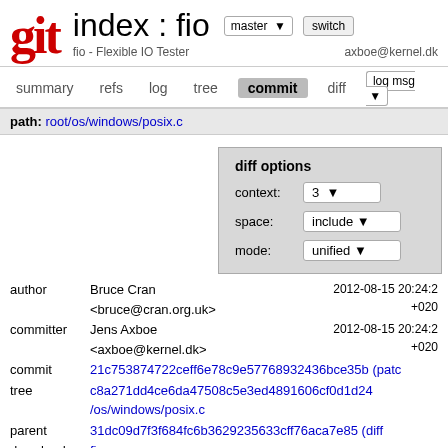git index : fio
fio - Flexible IO Tester | axboe@kernel.dk
summary refs log tree commit diff log msg
path: root/os/windows/posix.c
diff options
context: 3
space: include
mode: unified
author Bruce Cran <bruce@cran.org.uk> 2012-08-15 20:24:2 +020
committer Jens Axboe <axboe@kernel.dk> 2012-08-15 20:24:2 +020
commit 21c753874722ceff6e78c9e57768932436bce35b (patch)
tree c8a271dd4ce6da47508c5e3ed4891606cf0d1d24 /os/windows/posix.c
parent 31dc09d7f3f684fc6b3629235633cff76aca7e85 (diff)
download fio-